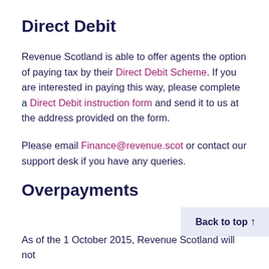Direct Debit
Revenue Scotland is able to offer agents the option of paying tax by their Direct Debit Scheme. If you are interested in paying this way, please complete a Direct Debit instruction form and send it to us at the address provided on the form.
Please email Finance@revenue.scot or contact our support desk if you have any queries.
Overpayments
Back to top ↑
As of the 1 October 2015, Revenue Scotland will not